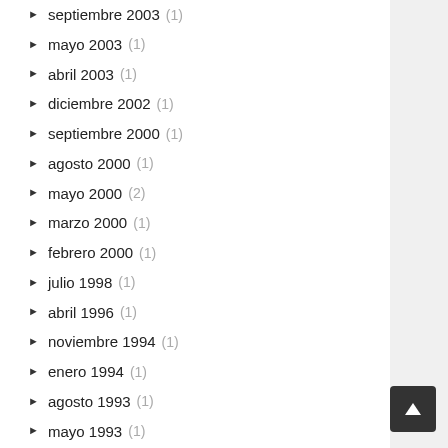septiembre 2003 (1)
mayo 2003 (1)
abril 2003 (1)
diciembre 2002 (1)
septiembre 2000 (1)
agosto 2000 (1)
mayo 2000 (2)
marzo 2000 (1)
febrero 2000 (1)
julio 1998 (1)
abril 1996 (1)
noviembre 1994 (1)
enero 1994 (1)
agosto 1993 (1)
mayo 1993 (1)
abril 1993 (1)
diciembre 1991 (1)
agosto 1991 (1)
mayo 1991 (1)